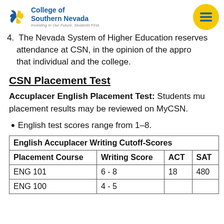College of Southern Nevada — Investing In Our Future. Students First.
4. The Nevada System of Higher Education reserves attendance at CSN, in the opinion of the appropriate authority, would not be in the best interest of that individual and the college.
CSN Placement Test
Accuplacer English Placement Test: Students must take the Accuplacer placement test. placement results may be reviewed on MyCSN.
English test scores range from 1–8.
| Placement Course | Writing Score | ACT | SAT |
| --- | --- | --- | --- |
| ENG 101 | 6 - 8 | 18 | 480 |
| ENG 100 | 4 - 5 |  |  |